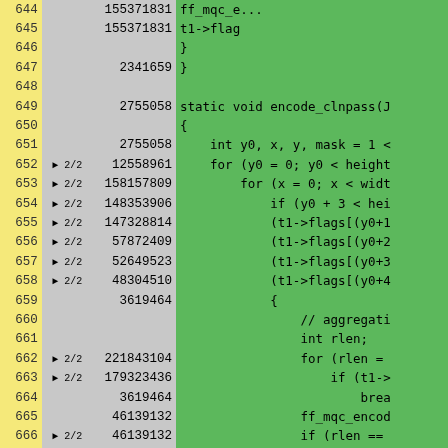| Line | Branch | Count | Code |
| --- | --- | --- | --- |
| 644 |  | 155371831 | ff_mqc_e... |
| 645 |  | 155371831 | t1->flag |
| 646 |  |  | } |
| 647 |  | 2341659 | } |
| 648 |  |  |  |
| 649 |  | 2755058 | static void encode_clnpass(J |
| 650 |  |  | { |
| 651 |  | 2755058 |     int y0, x, y, mask = 1 < |
| 652 | ▶ 2/2 | 12558961 |     for (y0 = 0; y0 < height |
| 653 | ▶ 2/2 | 158157809 |         for (x = 0; x < widt |
| 654 | ▶ 2/2 | 148353906 |             if (y0 + 3 < hei |
| 655 | ▶ 2/2 | 147328814 |             (t1->flags[(y0+1 |
| 656 | ▶ 2/2 | 57872409 |             (t1->flags[(y0+2 |
| 657 | ▶ 2/2 | 52649523 |             (t1->flags[(y0+3 |
| 658 | ▶ 2/2 | 48304510 |             (t1->flags[(y0+4 |
| 659 |  | 3619464 |             { |
| 660 |  |  |                 // aggregati |
| 661 |  |  |                 int rlen; |
| 662 | ▶ 2/2 | 221843104 |                 for (rlen = |
| 663 | ▶ 2/2 | 179323436 |                     if (t1-> |
| 664 |  | 3619464 |                         brea |
| 665 |  | 46139132 |                 ff_mqc_encod |
| 666 | ▶ 2/2 | 46139132 |                 if (rlen == |
| 667 |  | 42519668 |                     continue |
| 668 |  | 3619464 |                 ff_mqc_encod |
| 669 |  | 3619464 |                 ff_mqc_encod |
| 670 | ▶ 2/2 | 12472020 |                 for (y = y0 |